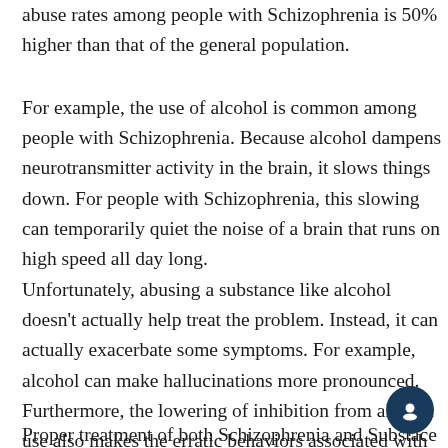abuse rates among people with Schizophrenia is 50% higher than that of the general population.
For example, the use of alcohol is common among people with Schizophrenia. Because alcohol dampens neurotransmitter activity in the brain, it slows things down. For people with Schizophrenia, this slowing can temporarily quiet the noise of a brain that runs on high speed all day long.
Unfortunately, abusing a substance like alcohol doesn't actually help treat the problem. Instead, it can actually exacerbate some symptoms. For example, alcohol can make hallucinations more pronounced. Furthermore, the lowering of inhibition from alcohol use also makes the erratic behaviors associated with Schizophrenia much harder to control.
Proper treatment of both Schizophrenia and Substace